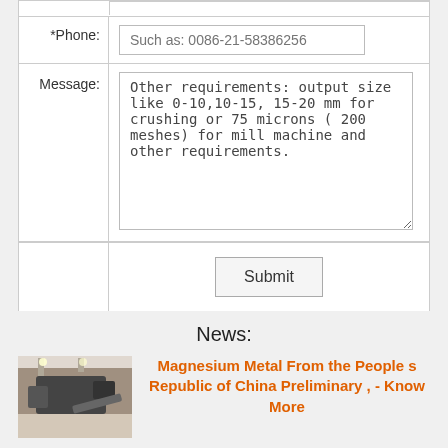| Label | Field |
| --- | --- |
|  | (partial top row) |
| *Phone: | Such as: 0086-21-58386256 |
| Message: | Other requirements: output size like 0-10,10-15, 15-20 mm for crushing or 75 microns ( 200 meshes) for mill machine and other requirements. |
|  | Submit |
News:
[Figure (photo): Industrial crushing/mining machine in a warehouse setting]
Magnesium Metal From the People s Republic of China Preliminary , - Know More
6 Jan 2017 , Magnesium Metal From the People s Republic of China Preliminary Results of , magnesium ground, chipped, crushed, or machined